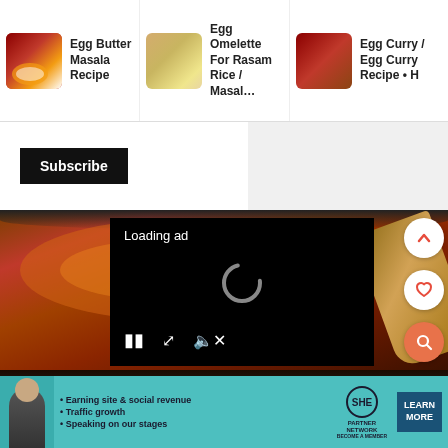[Figure (screenshot): Top bar showing three recipe thumbnails: Egg Butter Masala Recipe, Egg Omelette For Rasam Rice / Masal..., Egg Curry / Egg Curry Recipe • H]
Subscribe
[Figure (photo): Cooking photo showing masala curry sauce in a dark pan with wooden spoon]
[Figure (screenshot): Video ad overlay with black background showing 'Loading ad' text, spinner, and video controls (pause, fullscreen, mute)]
[Figure (screenshot): Bottom advertisement banner for SHE PARTNER NETWORK with teal background, showing bullet points: Earning site & social revenue, Traffic growth, Speaking on our stages. Includes LEARN MORE button.]